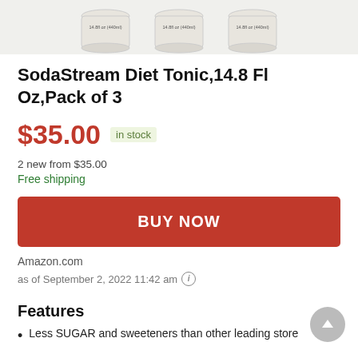[Figure (photo): Three SodaStream Diet Tonic jars/bottles showing partial tops with labels reading 14.8fl oz (440ml), on a light gray background]
SodaStream Diet Tonic,14.8 Fl Oz,Pack of 3
$35.00 in stock
2 new from $35.00
Free shipping
BUY NOW
Amazon.com
as of September 2, 2022 11:42 am ⓘ
Features
Less SUGAR and sweeteners than other leading store